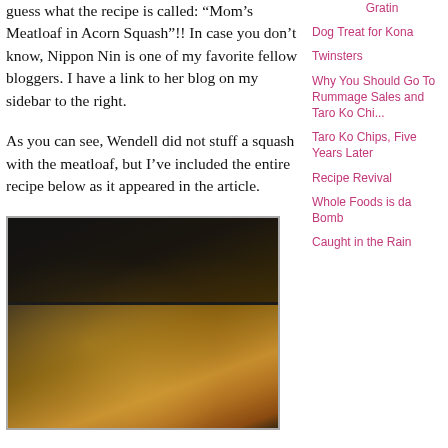guess what the recipe is called: "Mom's Meatloaf in Acorn Squash"!! In case you don't know, Nippon Nin is one of my favorite fellow bloggers. I have a link to her blog on my sidebar to the right.
As you can see, Wendell did not stuff a squash with the meatloaf, but I've included the entire recipe below as it appeared in the article.
[Figure (photo): Close-up photo of meatloaf in a dark baking dish, showing browned and golden-crusted meatloaf with melted cheese on top]
Gratin
Dog Treat for Kona
Twinsters
Why You Should Go To Rummage Sales and Taro Ko Chi...
Taro Ko Chips, Five Years Later
Recipe Revival
Whole Foods is da Bomb
Caught in the Rain